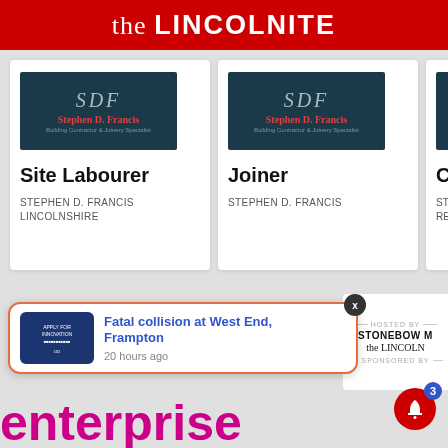the LINCOLNITE
[Figure (logo): Stephen D. Francis – Building Contractor & Joinery Specialist logo (dark teal background, SDF initials in grey, name in red)]
Site Labourer
STEPHEN D. FRANCIS
LINCOLNSHIRE
[Figure (logo): Stephen D. Francis – Building Contractor & Joinery Specialist logo (dark teal background, SDF initials in grey, name in red)]
Joiner
STEPHEN D. FRANCIS
Cor
Cor
Mo
STO
REM
[Figure (screenshot): Push notification popup: 'Fatal collision at West End, Frampton' – 20 hours ago, with close button X]
[Figure (infographic): Right panel: HOSTED BY STONEBOW M... the LINCOLNITE, SPONSORED BY]
enterprise